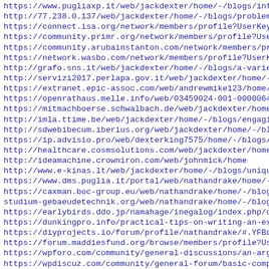https://www.pugliaxp.it/web/jackdexter/home/-/blogs/informa
http://77.238.0.137/web/jackdexter/home/-/blogs/problem-sol
https://connect.isa.org/network/members/profile?UserKey=0c3
https://community.primr.org/network/members/profile?UserKey
https://community.arubainstanton.com/network/members/profil
https://network.wasbo.com/network/members/profile?UserKey=0
http://grafo.sns.it/web/jackdexter/home/-/blogs/a-variety-o
http://servizi2017.perlapa.gov.it/web/jackdexter/home/-/blo
https://extranet.epic-assoc.com/web/andrewmike123/home/-/bl
https://openrathaus.melle.info/web/03459024-001-0000064052-
https://mitmachboerse.schwalbach.de/web/jackdexter/home/-/b
http://imla.ttime.be/web/jackdexter/home/-/blogs/engaging-t
http://sdwebibecum.iberius.org/web/jackdexter/home/-/blogs/
https://ip.advisio.pro/web/dexterking7575/home/-/blogs/extr
http://healthcare.cosmsolutions.com/web/jackdexter/home/-/b
http://ideamachine.crowniron.com/web/johnmick/home
http://www.e-kinas.lt/web/jackdexter/home/-/blogs/unique-pe
https://www.dms.puglia.it/portal/web/nathandrake/home/-/blo
https://caxman.boc-group.eu/web/nathandrake/home/-/blogs/en
studium-gebaeudetechnik.org/web/nathandrake/home/-/blogs/ho
https://earlybirds.ddo.jp/namahage/inegalog/index.php/commu
https://dunkingpro.info/practical-tips-on-writing-an-exposi
https://diyprojects.io/forum/profile/nathandrake/#.YFBq3J0z
https://forum.maddiesfund.org/browse/members/profile?UserKe
https://wpforo.com/community/general-discussions/an-argumen
https://wpdiscuz.com/community/general-forum/basic-componen
https://learn.acloud.guru/profile/dexterking7575
https://www.sefaria.org/profile/jack-dexter?tab=sheets
https://university.imgtec.com/forums/profile/jackdexter/